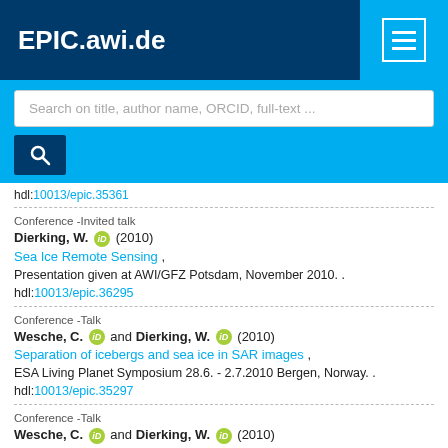EPIC.awi.de
[Figure (screenshot): Search bar with placeholder text: Search on title, author name, ORCID, full-text ... and a blue search button below]
hdl:10013/epic.35361
Conference -Invited talk
Dierking, W. (2010)
Sea Ice Remote Sensing ,
Presentation given at AWI/GFZ Potsdam, November 2010. .
hdl:10013/epic.36295
Conference -Talk
Wesche, C. and Dierking, W. (2010)
Separation of icebergs and sea ice in SAR images ,
ESA Living Planet Symposium 28.6. - 2.7.2010 Bergen, Norway. .
hdl:10013/epic.35297
Conference -Talk
Wesche, C. and Dierking, W. (2010)
Separation of icebergs and sea ice in SAR images ,
FRISP Workshop, 21. - 24. June 2010 in Bad Bederkesa,